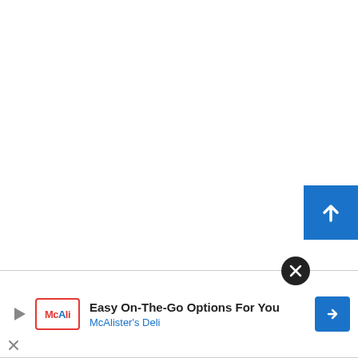[Figure (screenshot): Scroll-to-top button: blue square with white upward arrow, positioned at right edge.]
[Figure (screenshot): Advertisement banner at bottom: McAlister's Deli ad with close button, play icon, logo, title 'Easy On-The-Go Options For You', subtitle 'McAlister's Deli', and blue navigation arrow.]